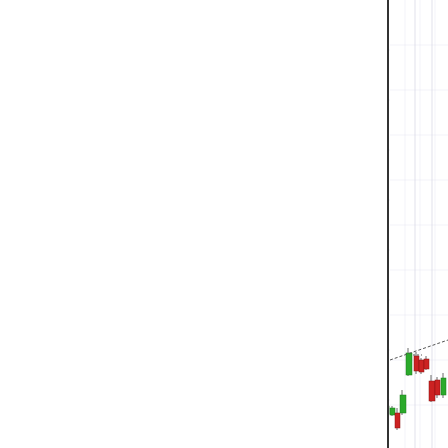[Figure (screenshot): Screenshot of IT-Finance.com trading chart interface showing candlestick chart of Spain 35 (MAR-11) futures with moving averages MA20 (blue), MA50 (pink), MA100 (orange). Upper portion shows candlestick price chart with green and red candles covering Dec 2010 through Jan 2011 dates (20, 23, 27, 30, 2011, 06, 10, 13, 16, 19). Lower portion shows same instrument with moving average lines. Interface includes Settings toolbar and drawing tools toolbar. Copyright notice: IT-Finance.com Data is Indicative.]